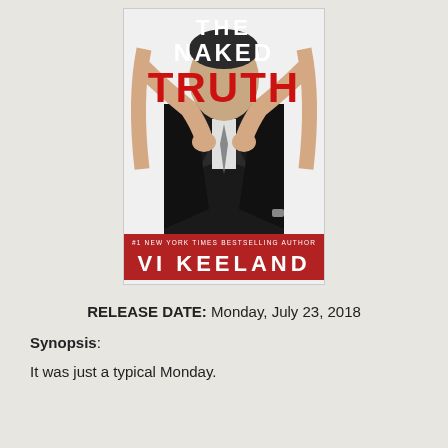[Figure (illustration): Book cover for 'The Naked Truth' by Vi Keeland. Black and white photo of a man in a suit with a woman's arms around him. Title text: THE NAKED TRUTH in large letters (TRUTH in red). Red band at bottom reads '#1 NEW YORK TIMES BESTSELLING AUTHOR VI KEELAND'.]
RELEASE DATE: Monday, July 23, 2018
Synopsis:
It was just a typical Monday.